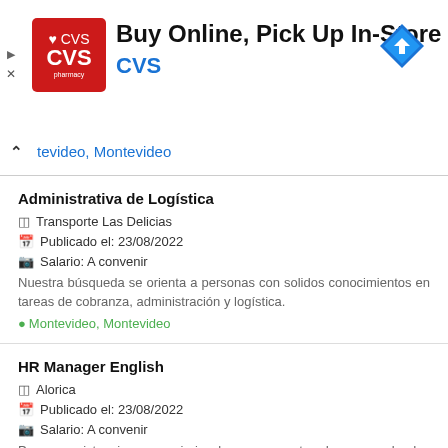[Figure (screenshot): CVS Pharmacy advertisement banner with red logo, text 'Buy Online, Pick Up In-Store', CVS subtitle in blue, and a blue navigation arrow icon on the right.]
tevideo, Montevideo
Administrativa de Logística
Transporte Las Delicias
Publicado el: 23/08/2022
Salario: A convenir
Nuestra búsqueda se orienta a personas con solidos conocimientos en tareas de cobranza, administración y logística.
Montevideo, Montevideo
HR Manager English
Alorica
Publicado el: 23/08/2022
Salario: A convenir
Proveer asistencia y consejeria al management y demas empleados respecto a las politicas y programas de la empresa y